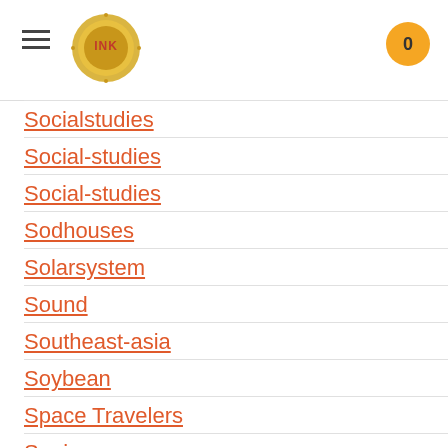INK [logo], 0
Socialstudies
Social-studies
Social-studies
Sodhouses
Solarsystem
Sound
Southeast-asia
Soybean
Space Travelers
Spain
Speech
Speed
Spiders
Spies